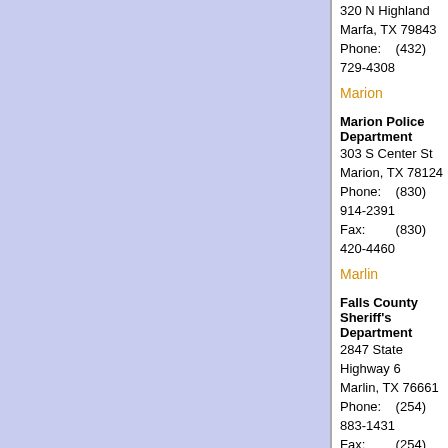320 N Highland
Marfa, TX 79843
Phone: (432) 729-4308
Marion
Marion Police Department
303 S Center St
Marion, TX 78124
Phone: (830) 914-2391
Fax: (830) 420-4460
Marlin
Falls County Sheriff's Department
2847 State Highway 6
Marlin, TX 76661
Phone: (254) 883-1431
Fax: (254) 883-1434
Marlin
Marlin Independent School District Police Department
130 Coleman St
Marlin, TX 76661
Phone: (254) 883-9241
Marlin
Marlin Police Department
101 Fortune Street
Marlin, TX 76661
Phone: (254) 883-9255
Fax: (254) 803-3556